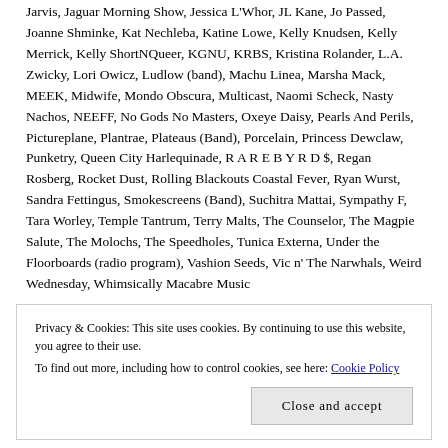Jarvis, Jaguar Morning Show, Jessica L'Whor, JL Kane, Jo Passed, Joanne Shminke, Kat Nechleba, Katine Lowe, Kelly Knudsen, Kelly Merrick, Kelly ShortNQueer, KGNU, KRBS, Kristina Rolander, L.A. Zwicky, Lori Owicz, Ludlow (band), Machu Linea, Marsha Mack, MEEK, Midwife, Mondo Obscura, Multicast, Naomi Scheck, Nasty Nachos, NEEFF, No Gods No Masters, Oxeye Daisy, Pearls And Perils, Pictureplane, Plantrae, Plateaus (Band), Porcelain, Princess Dewclaw, Punketry, Queen City Harlequinade, R A R E B Y R D $, Regan Rosberg, Rocket Dust, Rolling Blackouts Coastal Fever, Ryan Wurst, Sandra Fettingus, Smokescreens (Band), Suchitra Mattai, Sympathy F, Tara Worley, Temple Tantrum, Terry Malts, The Counselor, The Magpie Salute, The Molochs, The Speedholes, Tunica Externa, Under the Floorboards (radio program), Vashion Seeds, Vic n' The Narwhals, Weird Wednesday, Whimsically Macabre Music
Privacy & Cookies: This site uses cookies. By continuing to use this website, you agree to their use. To find out more, including how to control cookies, see here: Cookie Policy
Close and accept